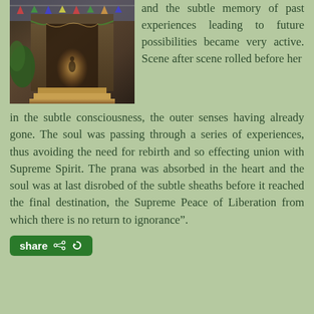[Figure (photo): A warmly lit temple entrance or gateway decorated with colorful prayer flags and garlands, photographed at night or dusk.]
and the subtle memory of past experiences leading to future possibilities became very active. Scene after scene rolled before her in the subtle consciousness, the outer senses having already gone. The soul was passing through a series of experiences, thus avoiding the need for rebirth and so effecting union with Supreme Spirit. The prana was absorbed in the heart and the soul was at last disrobed of the subtle sheaths before it reached the final destination, the Supreme Peace of Liberation from which there is no return to ignorance”.